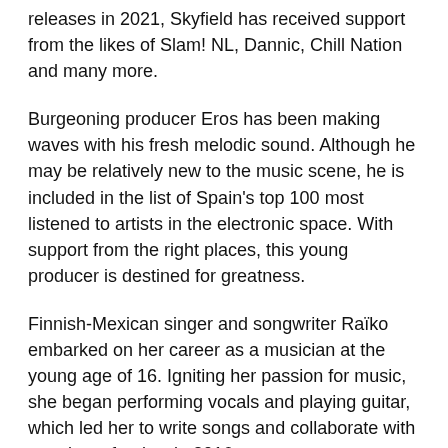releases in 2021, Skyfield has received support from the likes of Slam! NL, Dannic, Chill Nation and many more.
Burgeoning producer Eros has been making waves with his fresh melodic sound. Although he may be relatively new to the music scene, he is included in the list of Spain's top 100 most listened to artists in the electronic space. With support from the right places, this young producer is destined for greatness.
Finnish-Mexican singer and songwriter Raïko embarked on her career as a musician at the young age of 16. Igniting her passion for music, she began performing vocals and playing guitar, which led her to write songs and collaborate with a variety of artists in 2016.
Moving from strength to strength, her songs have been